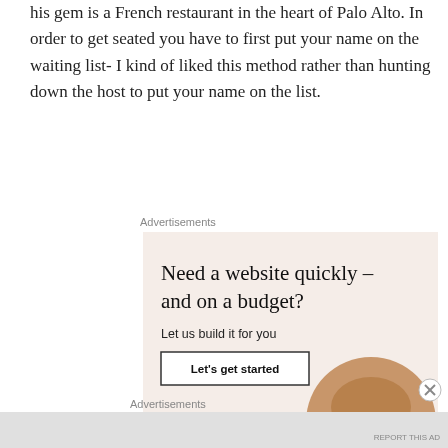his gem is a French restaurant in the heart of Palo Alto. In order to get seated you have to first put your name on the waiting list- I kind of liked this method rather than hunting down the host to put your name on the list.
Advertisements
[Figure (screenshot): WordPress advertisement: 'Need a website quickly – and on a budget? Let us build it for you' with a Let's get started button and a photo of a person on a laptop, WordPress logo at bottom left.]
Advertisements